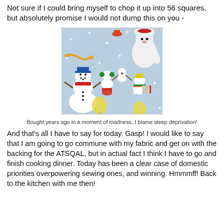Not sure if I could bring myself to chop it up into 56 squares, but absolutely promise I would not dump this on you -
[Figure (photo): Close-up photo of fabric featuring cartoon snowmen and polar bears playing musical instruments on a light blue background with white polka dots.]
Bought years ago in a moment of madness. I blame sleep deprivation!
And that's all I have to say for today. Gasp! I would like to say that I am going to go commune with my fabric and get on with the backing for the ATSQAL, but in actual fact I think I have to go and finish cooking dinner. Today has been a clear case of domestic priorities overpowering sewing ones, and winning. Hmmmff! Back to the kitchen with me then!